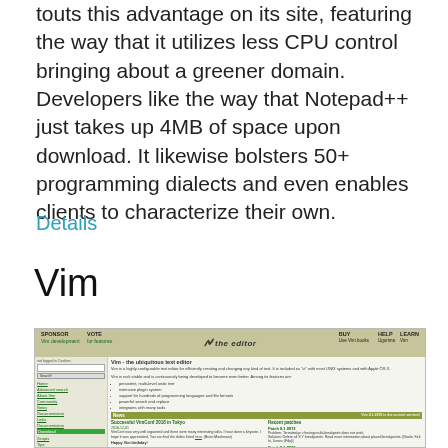touts this advantage on its site, featuring the way that it utilizes less CPU control bringing about a greener domain. Developers like the way that Notepad++ just takes up 4MB of space upon download. It likewise bolsters 50+ programming dialects and even enables clients to characterize their own.
Details
Vim
[Figure (screenshot): Screenshot of the Vim text editor website (vim.org), showing the navigation bar with SPONSOR, VOTES, logo, BUY, HELP, LEARN links, a left sidebar with search box and navigation links including Download highlighted in green, and main content area showing Vim description, features list, News section with VimConf 2018 in Tokyo article, and Recent patches section.]